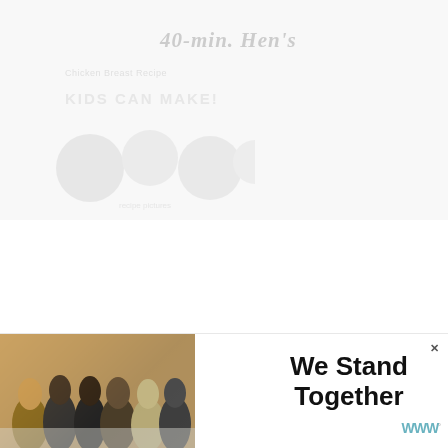[Figure (screenshot): Faded/ghosted top portion of a recipe webpage showing a food image and title area with text 'KIDS CAN MAKE!' in faded gray]
[Figure (infographic): Teal circular like/favorite button with heart icon]
123
[Figure (infographic): White circular share button with share icon and plus symbol]
WHAT'S NEXT → Over 25 Chicken Leg...
[Figure (photo): Circular thumbnail of a chicken leg recipe image with red text overlay]
[Figure (screenshot): Advertisement banner: photo of group of people seen from behind with arms around each other, text reads 'We Stand Together']